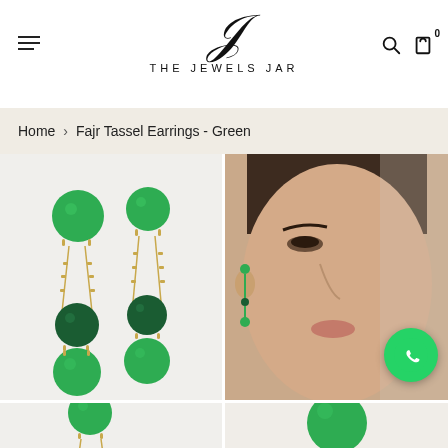[Figure (logo): The Jewels Jar logo with stylized italic J and brand name in spaced capitals]
Home > Fajr Tassel Earrings - Green
[Figure (photo): Product photo of green tassel earrings with gold chain and green ball beads on light grey background]
[Figure (photo): Model wearing green tassel earrings, close-up of face and ear]
[Figure (photo): Partial product photo bottom left, green earrings]
[Figure (photo): Partial product photo bottom right, green bead earring detail]